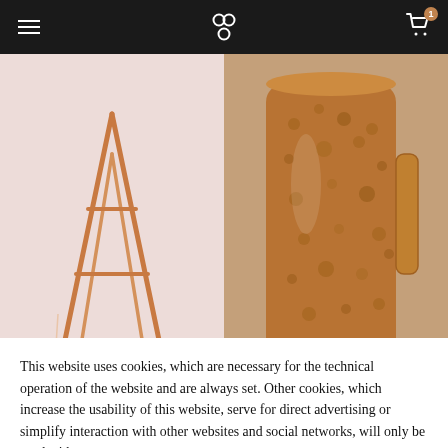Navigation header with hamburger menu, logo, and cart icon with badge 1
[Figure (photo): Copper tongue cleaner product photo with pink background]
[Figure (photo): Hammered copper jug 1.5 litre product photo]
TONGUE CLEANER
HAMMERED COPPER JUG 1.5 Litre
This website uses cookies, which are necessary for the technical operation of the website and are always set. Other cookies, which increase the usability of this website, serve for direct advertising or simplify interaction with other websites and social networks, will only be used with your consent.
Decline | Configure | Accept All